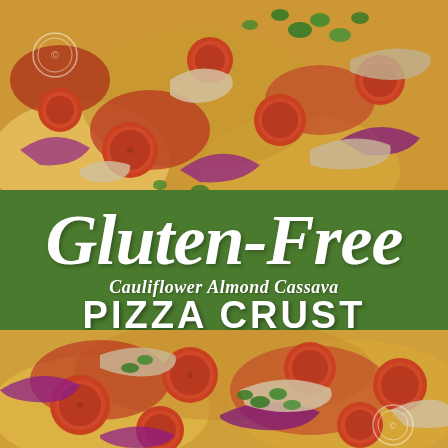[Figure (photo): Close-up photo of gluten-free pizza with pepperoni, red onion, mushrooms, and fresh herbs on a cauliflower almond cassava crust, top portion]
Gluten-Free
Cauliflower Almond Cassava
PIZZA CRUST
[Figure (photo): Close-up photo of gluten-free pizza with pepperoni, red onion, mushrooms, and fresh herbs on a cauliflower almond cassava crust, bottom portion]